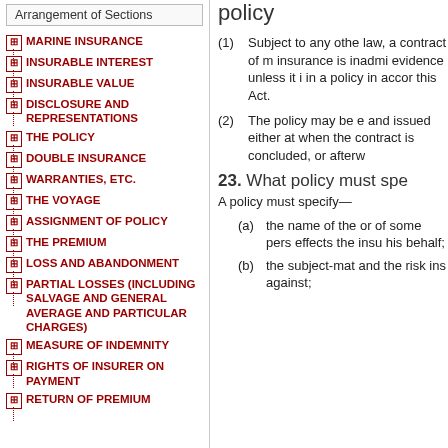Arrangement of Sections
MARINE INSURANCE
INSURABLE INTEREST
INSURABLE VALUE
DISCLOSURE AND REPRESENTATIONS
THE POLICY
DOUBLE INSURANCE
WARRANTIES, ETC.
THE VOYAGE
ASSIGNMENT OF POLICY
THE PREMIUM
LOSS AND ABANDONMENT
PARTIAL LOSSES (INCLUDING SALVAGE AND GENERAL AVERAGE AND PARTICULAR CHARGES)
MEASURE OF INDEMNITY
RIGHTS OF INSURER ON PAYMENT
RETURN OF PREMIUM
policy
(1) Subject to any other law, a contract of marine insurance is inadmissible in evidence unless it is embodied in a policy in accordance with this Act.
(2) The policy may be executed and issued either at the time when the contract is concluded, or afterwards.
23. What policy must specify
A policy must specify—
(a) the name of the assured, or of some person who effects the insurance on his behalf;
(b) the subject-matter insured and the risk insured against;